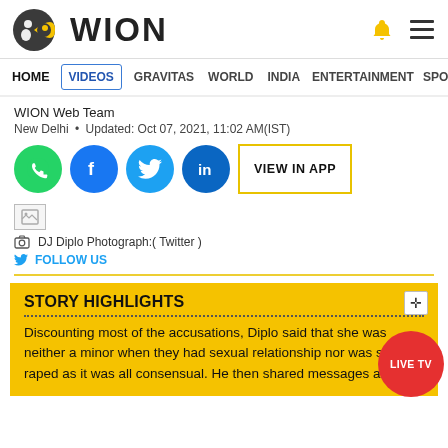WION
HOME VIDEOS GRAVITAS WORLD INDIA ENTERTAINMENT SPORTS
WION Web Team
New Delhi • Updated: Oct 07, 2021, 11:02 AM(IST)
[Figure (infographic): Social share buttons: WhatsApp, Facebook, Twitter, LinkedIn, and VIEW IN APP button]
[Figure (photo): Broken image placeholder for DJ Diplo photograph]
DJ Diplo Photograph:( Twitter )
FOLLOW US
STORY HIGHLIGHTS
Discounting most of the accusations, Diplo said that she was neither a minor when they had sexual relationship nor was she raped as it was all consensual. He then shared messages and